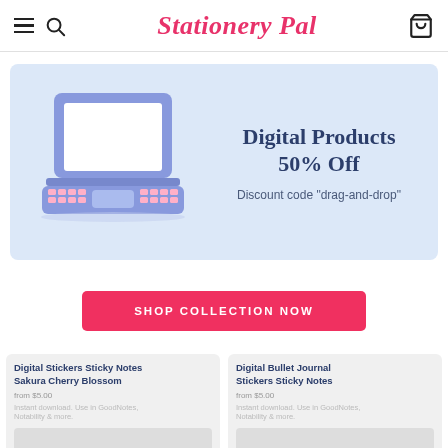Stationery Pal
[Figure (illustration): Promotional banner with light blue background showing a 3D purple/blue laptop illustration on the left, and text 'Digital Products 50% Off' with 'Discount code "drag-and-drop"' on the right.]
SHOP COLLECTION NOW
Digital Stickers Sticky Notes Sakura Cherry Blossom
Digital Bullet Journal Stickers Sticky Notes